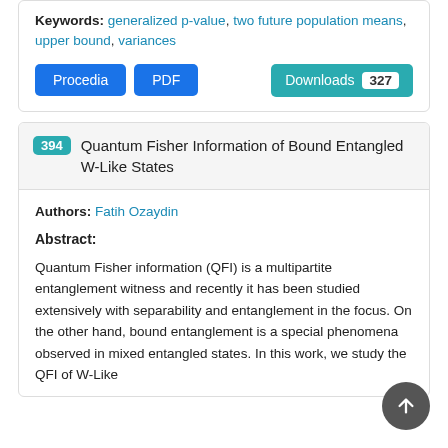Keywords: generalized p-value, two future population means, upper bound, variances
Procedia  PDF  Downloads 327
394 Quantum Fisher Information of Bound Entangled W-Like States
Authors: Fatih Ozaydin
Abstract:
Quantum Fisher information (QFI) is a multipartite entanglement witness and recently it has been studied extensively with separability and entanglement in the focus. On the other hand, bound entanglement is a special phenomena observed in mixed entangled states. In this work, we study the QFI of W-Like...